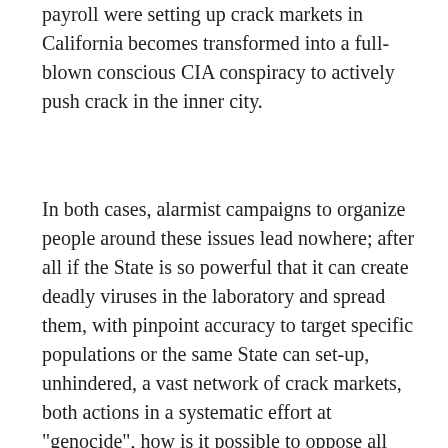payroll were setting up crack markets in California becomes transformed into a full-blown conscious CIA conspiracy to actively push crack in the inner city.
In both cases, alarmist campaigns to organize people around these issues lead nowhere; after all if the State is so powerful that it can create deadly viruses in the laboratory and spread them, with pinpoint accuracy to target specific populations or the same State can set-up, unhindered, a vast network of crack markets, both actions in a systematic effort at "genocide", how is it possible to oppose all this? As an excellent article by David Gilbert on AIDS conspiracies in TURNING THE TIDE a couple of years ago put it, "These theories divert energy from the work that must be done in the trenches of marginalized communities are to survive